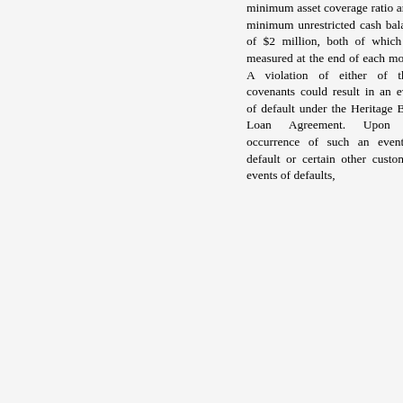minimum asset coverage ratio and a minimum unrestricted cash balance of $2 million, both of which are measured at the end of each month. A violation of either of these covenants could result in an event of default under the Heritage Bank Loan Agreement. Upon the occurrence of such an event of default or certain other customary events of defaults,